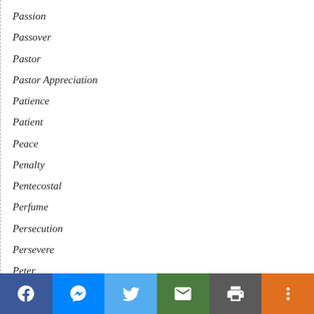Passion
Passover
Pastor
Pastor Appreciation
Patience
Patient
Peace
Penalty
Pentecostal
Perfume
Persecution
Persevere
Peter
Pharisees
Philistines